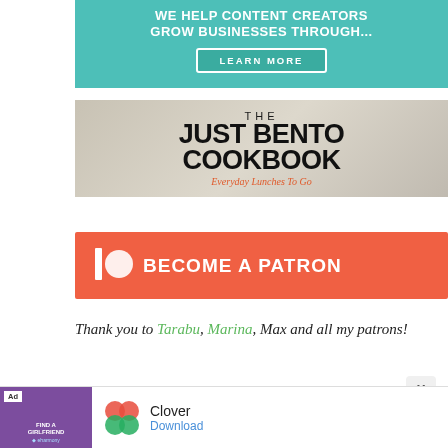[Figure (illustration): Teal promotional banner: 'WE HELP CONTENT CREATORS GROW BUSINESSES THROUGH...' with a 'LEARN MORE' button]
[Figure (illustration): The Just Bento Cookbook book cover showing rice in a bowl: 'THE JUST BENTO COOKBOOK – Everyday Lunches To Go']
[Figure (illustration): Patreon coral/salmon banner with Patreon icon and text 'BECOME A PATRON']
Thank you to Tarabu, Marina, Max and all my patrons!
[Figure (illustration): Bottom ad bar: 'Ad' label, purple thumbnail with 'FIND A GIRLFRIEND' text, Clover app icon, 'Clover' brand name, 'Download' link]